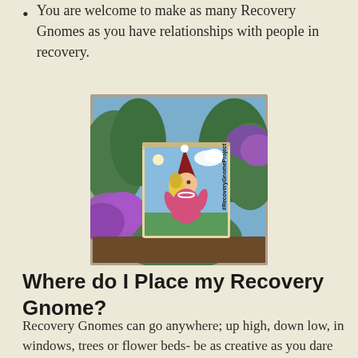You are welcome to make as many Recovery Gnomes as you have relationships with people in recovery.
[Figure (photo): Photo of a painted wooden block depicting a female gnome with a red hat, blonde hair, pink dress, and pearl necklace, set against purple petunias and green foliage. The block reads #RecoveryGnomeProject.]
Where do I Place my Recovery Gnome?
Recovery Gnomes can go anywhere; up high, down low, in windows, trees or flower beds- be as creative as you dare but respectful of people's property!